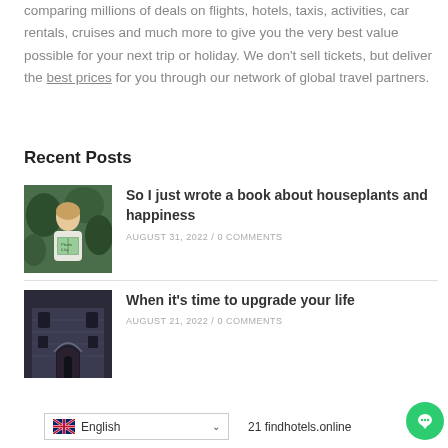comparing millions of deals on flights, hotels, taxis, activities, car rentals, cruises and much more to give you the very best value possible for your next trip or holiday. We don't sell tickets, but deliver the best prices for you through our network of global travel partners.
Recent Posts
[Figure (photo): Woman holding a book about houseplants in front of greenery]
So I just wrote a book about houseplants and happiness
AUGUST 31, 2022 / 0 COMMENTS
[Figure (photo): Dark stone building entrance with gothic architecture]
When it's time to upgrade your life
AUGUST 21, 2022 / 0 COMMENTS
English
21 findhotels.online